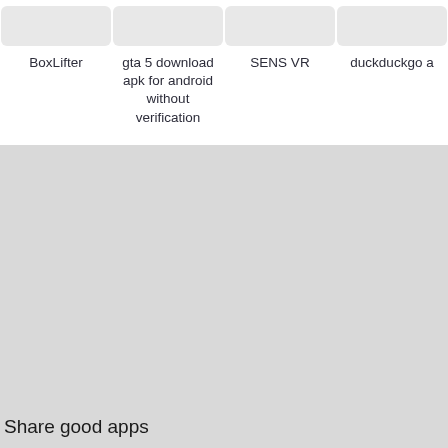[Figure (screenshot): App store grid showing four app icons (placeholder gray rectangles) with labels: BoxLifter, gta 5 download apk for android without verification, SENS VR, duckduckgo a]
Share good apps